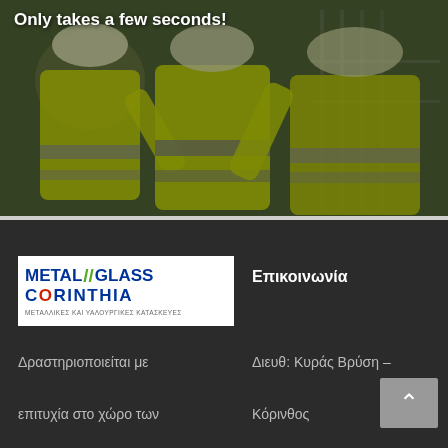[Figure (photo): Construction workers in yellow high-visibility vests viewed from behind, at a construction site. Text overlay reads 'Only takes a few seconds!']
Only takes a few seconds!
[Figure (logo): Metal Glass Corinthia logo - white background with blue text METAL//GLASS CORINTHIA and Greek subtitle ΜΕΤΑΛΛΙΚΕΣ ΚΑΙ ΥΑΛΟΥΡΓΙΚΕΣ ΚΑΤΑΣΚΕΥΕΣ]
Επικοινωνία
Δραστηριοποιείται με

επιτυχία στο χώρο των
Διευθ: Κυράς Βρύση –

Κόρινθος